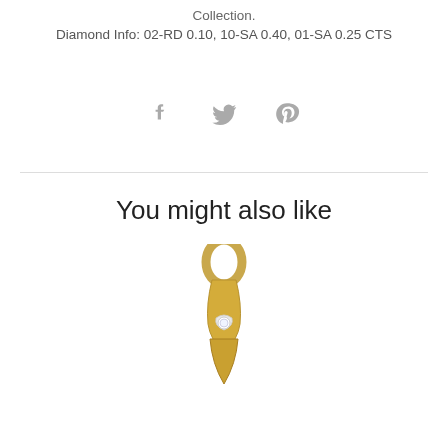Collection.
Diamond Info: 02-RD 0.10, 10-SA 0.40, 01-SA 0.25 CTS
[Figure (infographic): Social media share icons: Facebook (f), Twitter (bird), Pinterest (P) in grey]
You might also like
[Figure (photo): Gold and diamond jewelry pendant, partially visible at bottom of page]